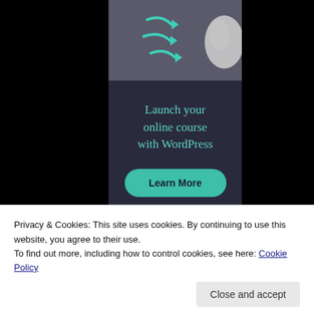[Figure (illustration): Top portion of an ad banner showing a dark gray background with teal arrow graphics pointing right and downward, and a white object (earphone/earbud) visible at the right edge]
Launch your online course with WordPress
Learn More
Powered by WordPress.com
Privacy & Cookies: This site uses cookies. By continuing to use this website, you agree to their use.
To find out more, including how to control cookies, see here: Cookie Policy
Close and accept